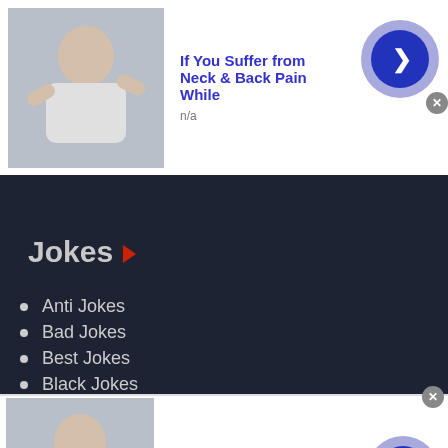[Figure (screenshot): Ad banner at top: thumbnail image of person stretching neck, blue bold title 'If You Suffer from Neck & Back Pain While', text 'n/a', blue circle button with arrow, close X button]
Jokes
Anti Jokes
Bad Jokes
Best Jokes
Black Jokes
[Figure (screenshot): Ad banner at bottom: thumbnail image of person stretching neck, blue bold title 'If You Suffer from Neck & Back Pain While', text 'n/a', blue circle button with arrow, close X button]